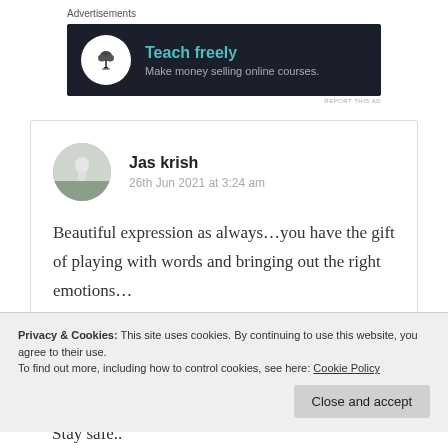Advertisements
[Figure (screenshot): Dark banner advertisement for 'Teach freely - Make money selling online courses' with a bonsai tree logo in a white circle on a dark navy background.]
REPORT THIS AD
Jas krish
26th Jun 2021 at 3:24 am

Beautiful expression as always…you have the gift of playing with words and bringing out the right emotions…
Privacy & Cookies: This site uses cookies. By continuing to use this website, you agree to their use.
To find out more, including how to control cookies, see here: Cookie Policy
Close and accept
Stay safe..